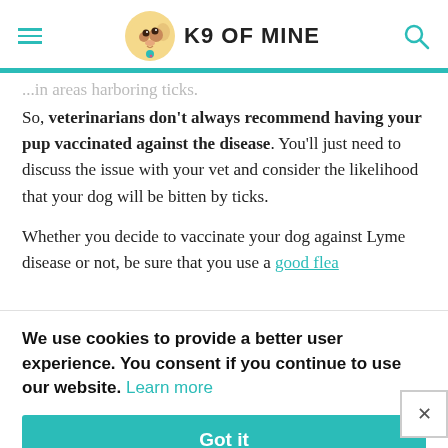K9 OF MINE
...in areas harboring ticks. So, veterinarians don't always recommend having your pup vaccinated against the disease. You'll just need to discuss the issue with your vet and consider the likelihood that your dog will be bitten by ticks.
Whether you decide to vaccinate your dog against Lyme disease or not, be sure that you use a good flea ...
We use cookies to provide a better user experience. You consent if you continue to use our website. Learn more
Got it
Dogs do not always require vaccines to protect them